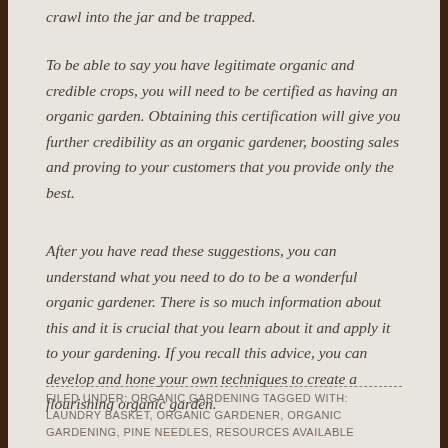crawl into the jar and be trapped.
To be able to say you have legitimate organic and credible crops, you will need to be certified as having an organic garden. Obtaining this certification will give you further credibility as an organic gardener, boosting sales and proving to your customers that you provide only the best.
After you have read these suggestions, you can understand what you need to do to be a wonderful organic gardener. There is so much information about this and it is crucial that you learn about it and apply it to your gardening. If you recall this advice, you can develop and hone your own techniques to create a flourishing organic garden.
FILED UNDER: ORGANIC GARDENING TAGGED WITH: LAUNDRY BASKET, ORGANIC GARDENER, ORGANIC GARDENING, PINE NEEDLES, RESOURCES AVAILABLE